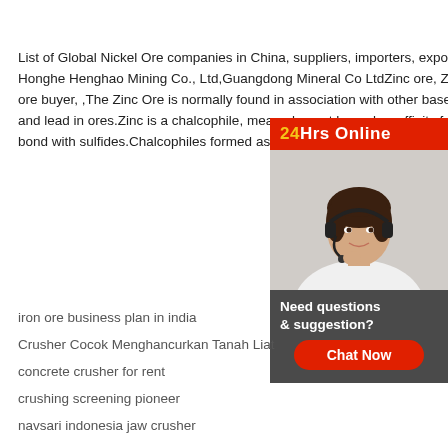List of Global Nickel Ore companies in China, suppliers, importers, exporters, manufacturers. Honghe Henghao Mining Co., Ltd,Guangdong Mineral Co LtdZinc ore, Zinc ore importer, Zinc ore buyer, ,The Zinc Ore is normally found in association with other base metals such as copper and lead in ores.Zinc is a chalcophile, meaning the element has a low affinity for oxides and prefers to bond with sulfides.Chalcophiles formed as th
[Figure (other): Customer support chat widget showing a woman with headset, red '24Hrs Online' header in yellow and white text, dark gray footer with 'Need questions & suggestion?' text and a red 'Chat Now' button.]
iron ore business plan in india
Crusher Cocok Menghancurkan Tanah Liat
concrete crusher for rent
crushing screening pioneer
navsari indonesia jaw crusher
Mill Kamgar Housing News
stone crushine machine sale in india
used marble machinery south africa